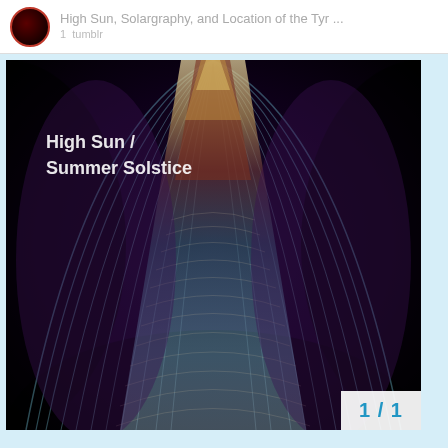High Sun, Solargraphy, and Location of the Tyr...
[Figure (photo): Solargraphy long-exposure photograph showing sun trails converging toward the top of a tall architectural structure (pillar/tower), with text overlay reading 'High Sun / Summer Solstice'. The image is dark at edges with teal/blue light streaks and warm reddish-brown tones at the top center.]
1 / 1